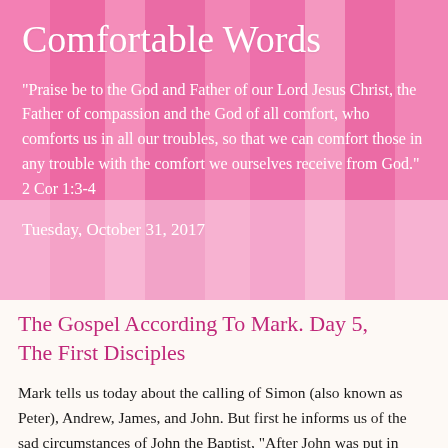Comfortable Words
"Praise be to the God and Father of our Lord Jesus Christ, the Father of compassion and the God of all comfort, who comforts us in all our troubles, so that we can comfort those in any trouble with the comfort we ourselves receive from God." 2 Cor 1:3-4
Tuesday, October 31, 2017
The Gospel According To Mark. Day 5, The First Disciples
Mark tells us today about the calling of Simon (also known as Peter), Andrew, James, and John. But first he informs us of the sad circumstances of John the Baptist, "After John was put in prison, Jesus went into Galilee, proclaiming the good news of God." (Mark 1:14) Mark will give a more detailed account of John's fate in Chapter 6, but today John had already faced, we imagine, that his...